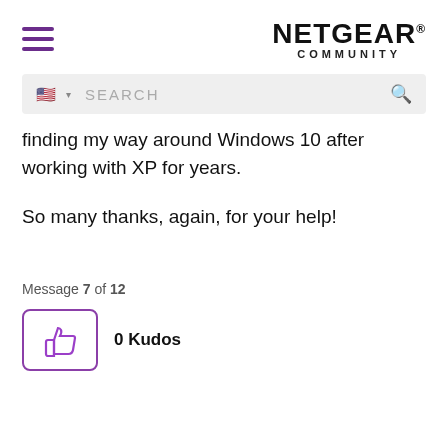NETGEAR® COMMUNITY
[Figure (screenshot): Search bar with US flag icon and search magnifier icon on grey background]
finding my way around Windows 10 after working with XP for years.
So many thanks, again, for your help!
Message 7 of 12
[Figure (illustration): Thumbs up kudos button with 0 Kudos label]